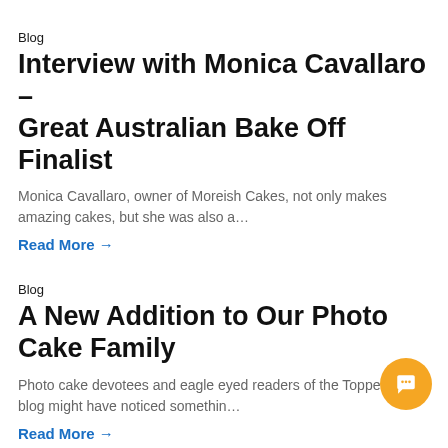Blog
Interview with Monica Cavallaro – Great Australian Bake Off Finalist
Monica Cavallaro, owner of Moreish Cakes, not only makes amazing cakes, but she was also a…
Read More →
Blog
A New Addition to Our Photo Cake Family
Photo cake devotees and eagle eyed readers of the Topperoo blog might have noticed somethin…
Read More →
[Figure (other): Orange circular chat/support button with a chat bubble icon]